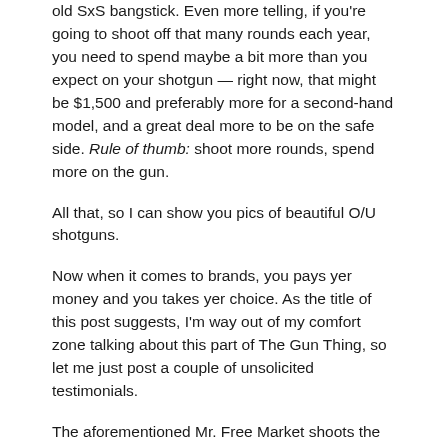old SxS bangstick. Even more telling, if you're going to shoot off that many rounds each year, you need to spend maybe a bit more than you expect on your shotgun — right now, that might be $1,500 and preferably more for a second-hand model, and a great deal more to be on the safe side.  Rule of thumb:  shoot more rounds, spend more on the gun.
All that, so I can show you pics of beautiful O/U shotguns.
Now when it comes to brands, you pays yer money and you takes yer choice.  As the title of this post suggests, I'm way out of my comfort zone talking about this part of The Gun Thing, so let me just post a couple of unsolicited testimonials.
The aforementioned Mr. Free Market shoots the Beretta 686 Silver Pigeon exclusively.  He wore out one